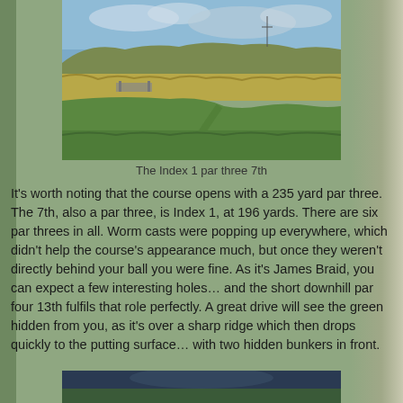[Figure (photo): Golf course fairway and rough with undulating hills, dry grasses and green turf, cloudy sky, bridge visible in background — the Index 1 par three 7th hole]
The Index 1 par three 7th
It's worth noting that the course opens with a 235 yard par three. The 7th, also a par three, is Index 1, at 196 yards. There are six par threes in all. Worm casts were popping up everywhere, which didn't help the course's appearance much, but once they weren't directly behind your ball you were fine. As it's James Braid, you can expect a few interesting holes… and the short downhill par four 13th fulfils that role perfectly. A great drive will see the green hidden from you, as it's over a sharp ridge which then drops quickly to the putting surface… with two hidden bunkers in front.
[Figure (photo): Partial view of another golf course scene at bottom of page, dark sky]